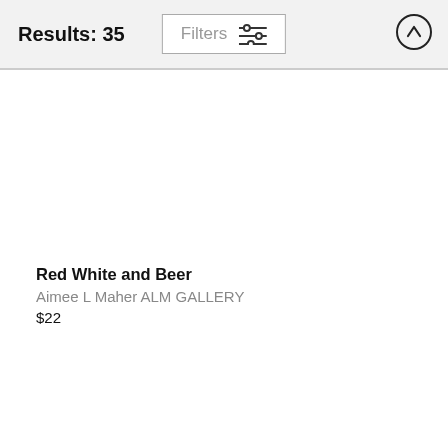Results: 35
[Figure (screenshot): Filters button with sliders icon]
[Figure (screenshot): Up arrow circle button]
Red White and Beer
Aimee L Maher ALM GALLERY
$22